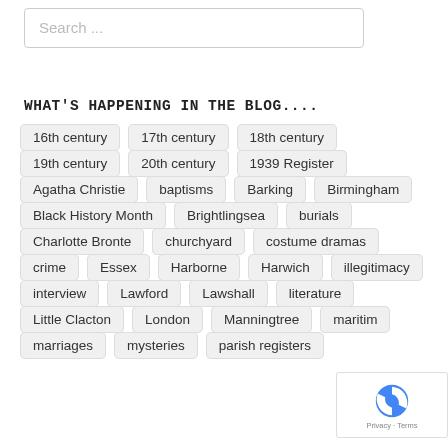Search ...
WHAT'S HAPPENING IN THE BLOG....
16th century
17th century
18th century
19th century
20th century
1939 Register
Agatha Christie
baptisms
Barking
Birmingham
Black History Month
Brightlingsea
burials
Charlotte Bronte
churchyard
costume dramas
crime
Essex
Harborne
Harwich
illegitimacy
interview
Lawford
Lawshall
literature
Little Clacton
London
Manningtree
maritim...
marriages
mysteries
parish registers